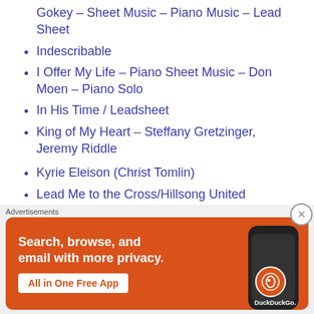Gokey – Sheet Music – Piano Music – Lead Sheet
Indescribable
I Offer My Life – Piano Sheet Music – Don Moen – Piano Solo
In His Time / Leadsheet
King of My Heart – Steffany Gretzinger, Jeremy Riddle
Kyrie Eleison (Christ Tomlin)
Lead Me to the Cross/Hillsong United
My Redeemer Lives – Hillsong
One Thing Have I Desired by Maranatha
[Figure (screenshot): DuckDuckGo advertisement banner: orange background with white text 'Search, browse, and email with more privacy.' and a white button 'All in One Free App', with a phone image and DuckDuckGo logo on the right.]